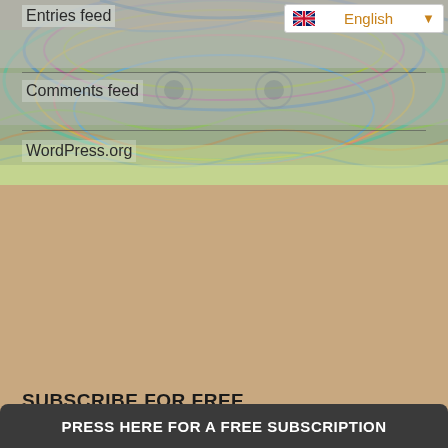[Figure (illustration): Psychedelic colorful swirling pattern background with blues, greens, yellows, pinks serving as decorative background for the top navigation/sidebar section]
Entries feed
English (language selector with UK flag and dropdown arrow)
Comments feed
WordPress.org
SUBSCRIBE FOR FREE
When there are new articles here, you will be notified. Simple as that. Not selling anything. 100% free.
First name or full name
Email
PRESS HERE FOR A FREE SUBSCRIPTION